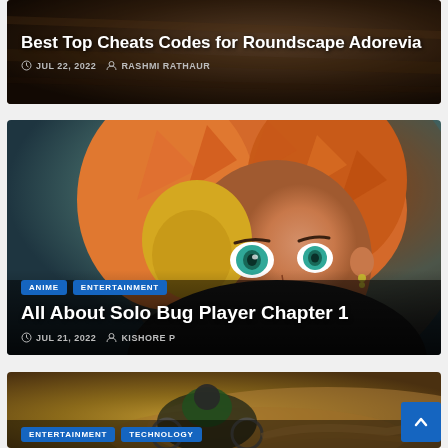[Figure (screenshot): Article card with dark brown background, title 'Best Top Cheats Codes for Roundscape Adorevia', date JUL 22, 2022, author RASHMI RATHAUR]
Best Top Cheats Codes for Roundscape Adorevia
JUL 22, 2022  RASHMI RATHAUR
[Figure (screenshot): Article card showing anime character with orange hair and teal eyes, tags ANIME and ENTERTAINMENT, title 'All About Solo Bug Player Chapter 1', date JUL 21, 2022, author KISHORE P]
ANIME  ENTERTAINMENT
All About Solo Bug Player Chapter 1
JUL 21, 2022  KISHORE P
[Figure (screenshot): Article card with motocross rider in dirt/dust, tags ENTERTAINMENT and TECHNOLOGY visible at bottom]
ENTERTAINMENT  TECHNOLOGY